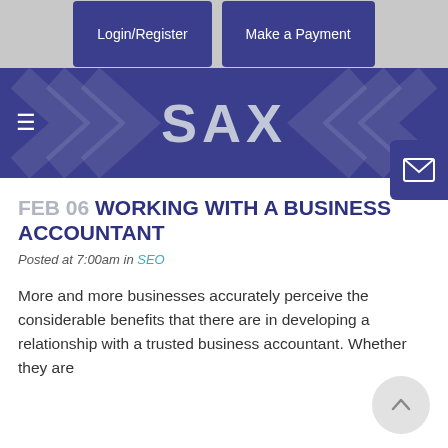Login/Register | Make a Payment
[Figure (logo): SAX logo on dark purple navigation bar with chevron pattern background and hamburger menu icon]
FEB 06 WORKING WITH A BUSINESS ACCOUNTANT
Posted at 7:00am in SEO
More and more businesses accurately perceive the considerable benefits that there are in developing a relationship with a trusted business accountant. Whether they are